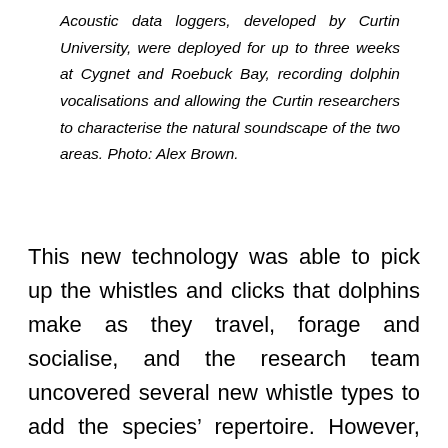Acoustic data loggers, developed by Curtin University, were deployed for up to three weeks at Cygnet and Roebuck Bay, recording dolphin vocalisations and allowing the Curtin researchers to characterise the natural soundscape of the two areas. Photo: Alex Brown.
This new technology was able to pick up the whistles and clicks that dolphins make as they travel, forage and socialise, and the research team uncovered several new whistle types to add the species' repertoire. However, more work is required before the two species can be efficiently distinguished and the number of